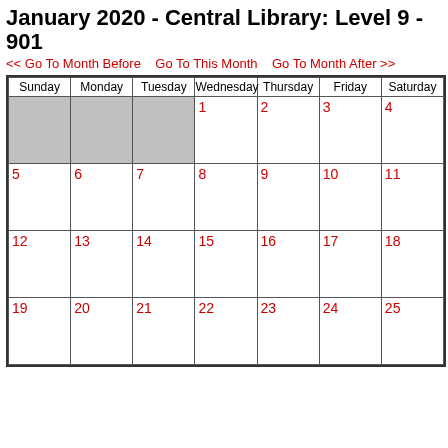January 2020 - Central Library: Level 9 - 901
<< Go To Month Before   Go To This Month   Go To Month After >>
| Sunday | Monday | Tuesday | Wednesday | Thursday | Friday | Saturday |
| --- | --- | --- | --- | --- | --- | --- |
|  |  |  | 1 | 2 | 3 | 4 |
| 5 | 6 | 7 | 8 | 9 | 10 | 11 |
| 12 | 13 | 14 | 15 | 16 | 17 | 18 |
| 19 | 20 | 21 | 22 | 23 | 24 | 25 |